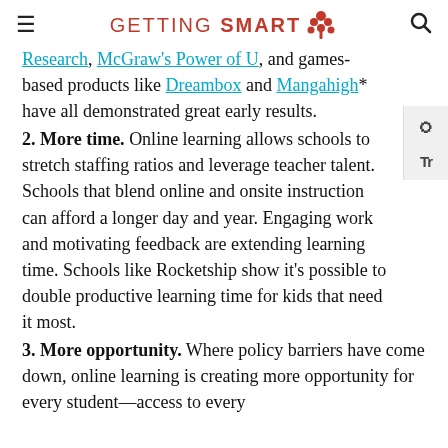GETTING SMART
Research, McGraw's Power of U, and games-based products like Dreambox and Mangahigh* have all demonstrated great early results.
2. More time. Online learning allows schools to stretch staffing ratios and leverage teacher talent. Schools that blend online and onsite instruction can afford a longer day and year. Engaging work and motivating feedback are extending learning time. Schools like Rocketship show it's possible to double productive learning time for kids that need it most.
3. More opportunity. Where policy barriers have come down, online learning is creating more opportunity for every student—access to every